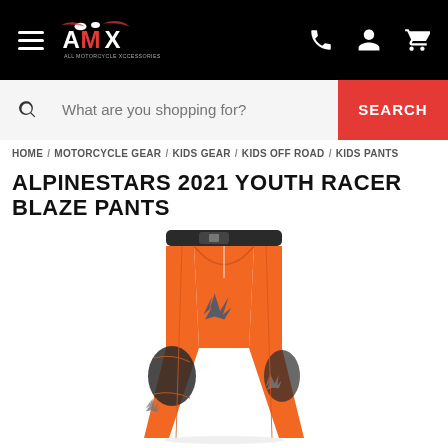AMX — All Motorcycle Xccessories
What are you shopping for?  SEARCH
HOME / MOTORCYCLE GEAR / KIDS GEAR / KIDS OFF ROAD / KIDS PANTS
ALPINESTARS 2021 YOUTH RACER BLAZE PANTS
[Figure (photo): Orange Alpinestars 2021 Youth Racer Blaze Pants product photo on white background. The pants are bright orange with dark grey/charcoal knee patches and Alpinestars logo graphics on the thighs. The waistband is dark. The pants are shown from the front at a slight angle.]